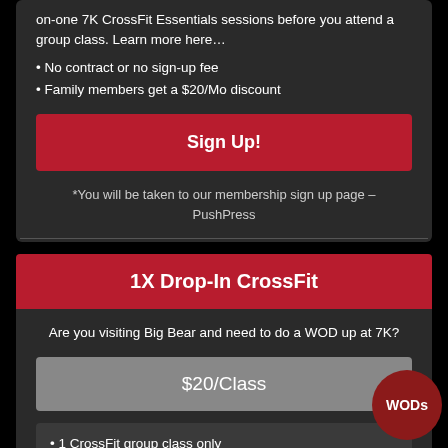on-one 7K CrossFit Essentials sessions before you attend a group class. Learn more here…
• No contract or no sign-up fee
• Family members get a $20/Mo discount
Sign Up!
*You will be taken to our membership sign up page – PushPress
1X Drop-In CrossFit
Are you visiting Big Bear and need to do a WOD up at 7K?
$20/Class
• 1 CrossFit group class only
WODs